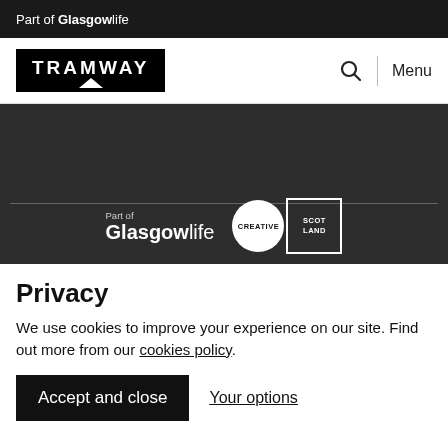Part of Glasgowlife
[Figure (logo): Tramway logo in black rectangle with white uppercase text and arch motif]
[Figure (logo): Search icon and Menu navigation]
[Figure (logo): Part of Glasgowlife footer logo with Creative Scotland logos on dark background]
Privacy
We use cookies to improve your experience on our site. Find out more from our cookies policy.
Accept and close | Your options